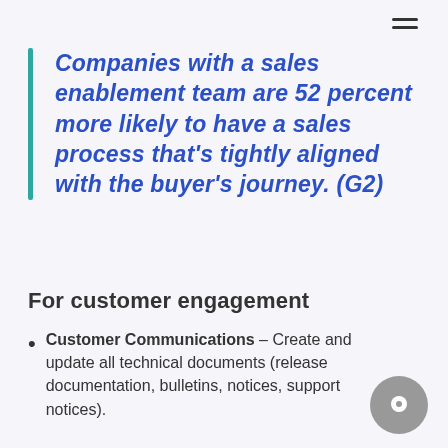Companies with a sales enablement team are 52 percent more likely to have a sales process that's tightly aligned with the buyer's journey. (G2)
For customer engagement
Customer Communications – Create and update all technical documents (release documentation, bulletins, notices, support notices).